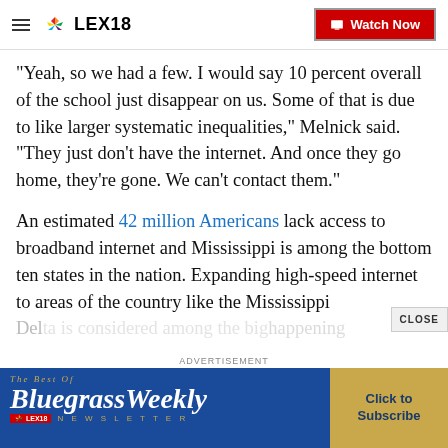LEX18 | Watch Now
"Yeah, so we had a few. I would say 10 percent overall of the school just disappear on us. Some of that is due to like larger systematic inequalities," Melnick said. "They just don't have the internet. And once they go home, they're gone. We can't contact them."
An estimated 42 million Americans lack access to broadband internet and Mississippi is among the bottom ten states in the nation. Expanding high-speed internet to areas of the country like the Mississippi Del...
[Figure (advertisement): BluegrassWeekly Newsletter advertisement banner by LEX18 with 'Click to Subscribe' call to action]